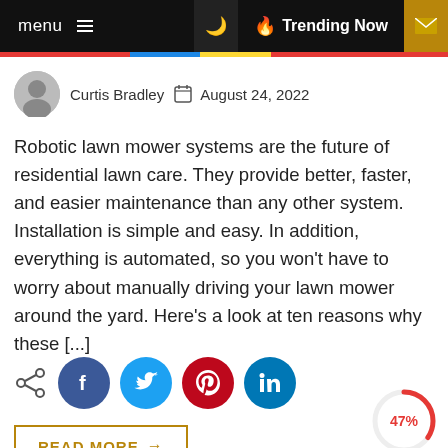menu  ☰   🌙  🔥 Trending Now  ✉
Curtis Bradley   August 24, 2022
Robotic lawn mower systems are the future of residential lawn care. They provide better, faster, and easier maintenance than any other system. Installation is simple and easy. In addition, everything is automated, so you won't have to worry about manually driving your lawn mower around the yard. Here's a look at ten reasons why these [...]
[Figure (infographic): Social share icons: share symbol, Facebook (blue circle), Twitter (light blue circle), Pinterest (red circle), LinkedIn (blue circle)]
[Figure (infographic): Circular progress indicator showing 47% in red]
READ MORE  →
y Do You Need an Expert ifice Cleaning Service?
[Figure (photo): Kitchen interior with wine cooler and dark cabinets]
Instructio Arranging